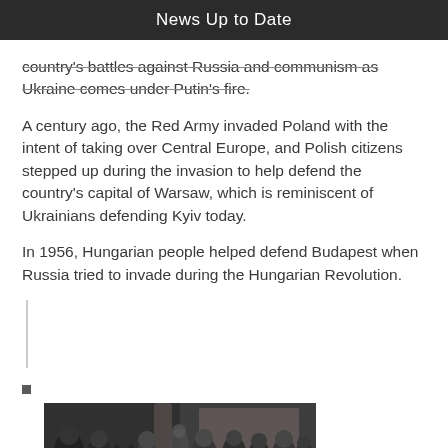News Up to Date
country's battles against Russia and communism as Ukraine comes under Putin's fire.
A century ago, the Red Army invaded Poland with the intent of taking over Central Europe, and Polish citizens stepped up during the invasion to help defend the country's capital of Warsaw, which is reminiscent of Ukrainians defending Kyiv today.
In 1956, Hungarian people helped defend Budapest when Russia tried to invade during the Hungarian Revolution.
[Figure (photo): Black and white photograph showing a crowd of people, with a woman in the foreground appearing to gesture or speak, surrounded by men in coats, likely from the 1950s era Hungarian Revolution.]